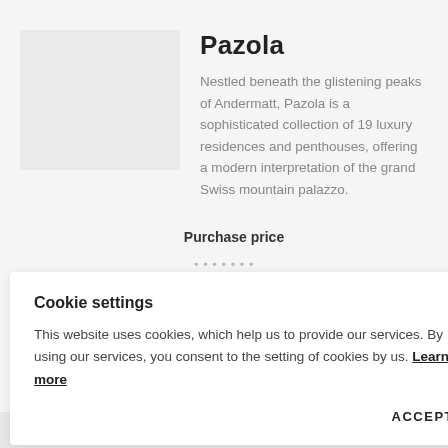[Figure (photo): Light grey placeholder image for property photo]
Pazola
Nestled beneath the glistening peaks of Andermatt, Pazola is a sophisticated collection of 19 luxury residences and penthouses, offering a modern interpretation of the grand Swiss mountain palazzo.
Purchase price
Cookie settings
This website uses cookies, which help us to provide our services. By using our services, you consent to the setting of cookies by us. Learn more
ACCEPT
The Chedi Residences
serviced residence in the 5-star